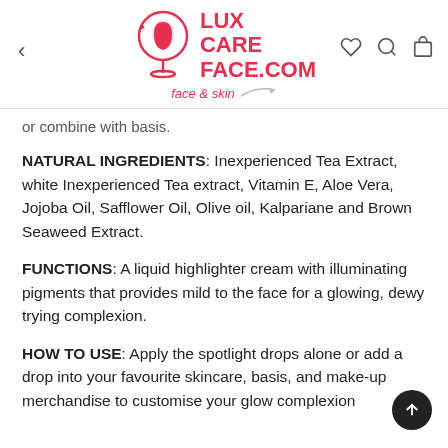LUX CARE FACE.COM — face & skin
or combine with basis.
NATURAL INGREDIENTS: Inexperienced Tea Extract, white Inexperienced Tea extract, Vitamin E, Aloe Vera, Jojoba Oil, Safflower Oil, Olive oil, Kalpariane and Brown Seaweed Extract.
FUNCTIONS: A liquid highlighter cream with illuminating pigments that provides mild to the face for a glowing, dewy trying complexion.
HOW TO USE: Apply the spotlight drops alone or add a drop into your favourite skincare, basis, and make-up merchandise to customise your glow complexion